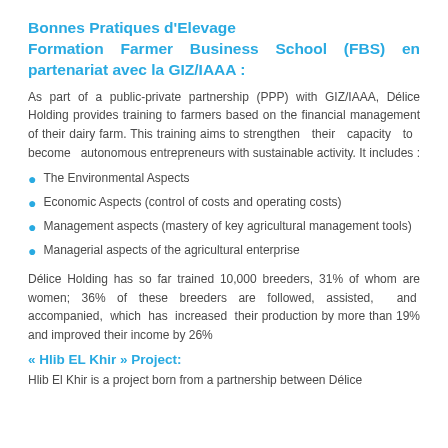Bonnes Pratiques d'Elevage Formation Farmer Business School (FBS) en partenariat avec la GIZ/IAAA :
As part of a public-private partnership (PPP) with GIZ/IAAA, Délice Holding provides training to farmers based on the financial management of their dairy farm. This training aims to strengthen their capacity to become autonomous entrepreneurs with sustainable activity. It includes :
The Environmental Aspects
Economic Aspects (control of costs and operating costs)
Management aspects (mastery of key agricultural management tools)
Managerial aspects of the agricultural enterprise
Délice Holding has so far trained 10,000 breeders, 31% of whom are women; 36% of these breeders are followed, assisted, and accompanied, which has increased their production by more than 19% and improved their income by 26%
« Hlib EL Khir » Project:
Hlib El Khir is a project born from a partnership between Délice